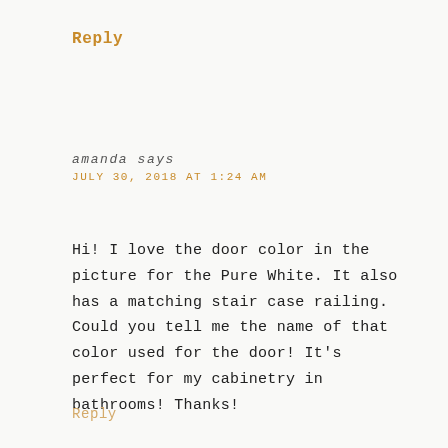Reply
amanda says
JULY 30, 2018 AT 1:24 AM
Hi! I love the door color in the picture for the Pure White. It also has a matching stair case railing. Could you tell me the name of that color used for the door! It's perfect for my cabinetry in bathrooms! Thanks!
Reply